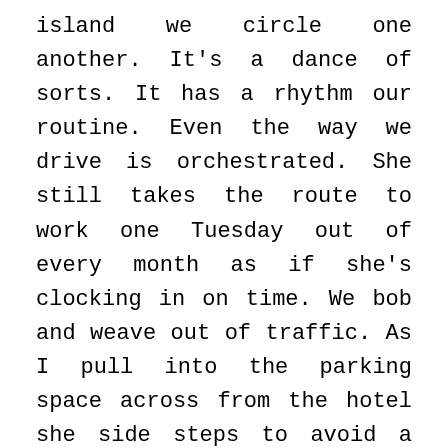island we circle one another. It's a dance of sorts. It has a rhythm our routine. Even the way we drive is orchestrated. She still takes the route to work one Tuesday out of every month as if she's clocking in on time. We bob and weave out of traffic. As I pull into the parking space across from the hotel she side steps to avoid a businessman walking through the hotel door. There's a certain beauty to our dance. But I grow tired still. And my head is beginning to ache from trying hard to keep the thoughts at bay.
I never liked speaking much. Her voice however was a sound a liked the most. Now it offends me even with the simplest sound. The sound of her chewing on her pen cap as she works her